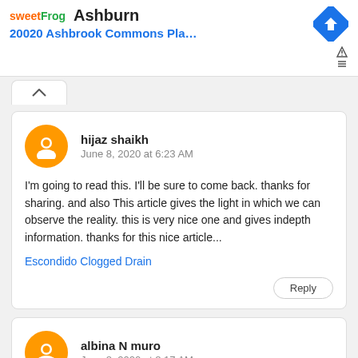[Figure (screenshot): SweetFrog ad banner showing Ashburn location with address 20020 Ashbrook Commons Pla... and a blue navigation arrow icon]
hijaz shaikh
June 8, 2020 at 6:23 AM
I'm going to read this. I'll be sure to come back. thanks for sharing. and also This article gives the light in which we can observe the reality. this is very nice one and gives indepth information. thanks for this nice article...
Escondido Clogged Drain
Reply
albina N muro
June 8, 2020 at 8:17 AM